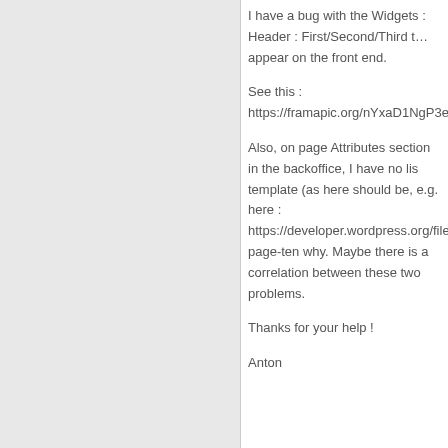I have a bug with the Widgets : Header : First/Second/Third tabs don't appear on the front end.
See this : https://framapic.org/nYxaD1NgP3ez/YlrLPvCmgPcf
Also, on page Attributes section in the backoffice, I have no list of template (as here should be, e.g. here : https://developer.wordpress.org/files/2014/10/basics-page-tem why. Maybe there is a correlation between these two problems.
Thanks for your help !
Anton
mythemes
Hi,
Can you contact me through our contact fo localhost and Sidebars are visible. I can de details.